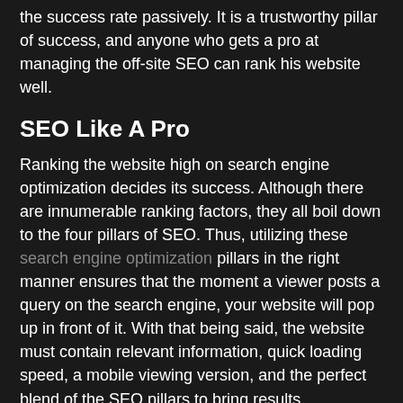the success rate passively. It is a trustworthy pillar of success, and anyone who gets a pro at managing the off-site SEO can rank his website well.
SEO Like A Pro
Ranking the website high on search engine optimization decides its success. Although there are innumerable ranking factors, they all boil down to the four pillars of SEO. Thus, utilizing these search engine optimization pillars in the right manner ensures that the moment a viewer posts a query on the search engine, your website will pop up in front of it. With that being said, the website must contain relevant information, quick loading speed, a mobile viewing version, and the perfect blend of the SEO pillars to bring results.